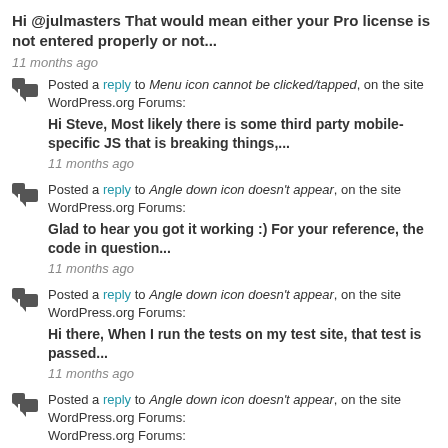Hi @julmasters That would mean either your Pro license is not entered properly or not...
11 months ago
Posted a reply to Menu icon cannot be clicked/tapped, on the site WordPress.org Forums:
Hi Steve, Most likely there is some third party mobile-specific JS that is breaking things,...
11 months ago
Posted a reply to Angle down icon doesn't appear, on the site WordPress.org Forums:
Glad to hear you got it working :) For your reference, the code in question...
11 months ago
Posted a reply to Angle down icon doesn't appear, on the site WordPress.org Forums:
Hi there, When I run the tests on my test site, that test is passed...
11 months ago
Posted a reply to Angle down icon doesn't appear, on the site WordPress.org Forums: